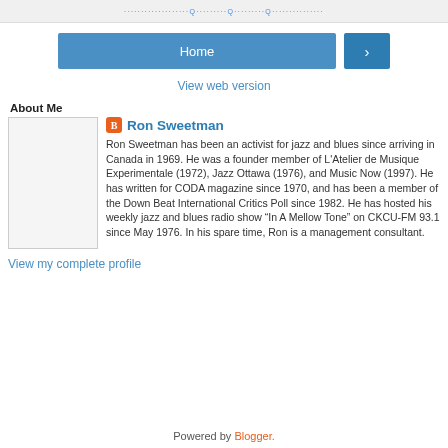.....................Q...........Q............Q...............
[Figure (screenshot): Home button and next arrow navigation buttons in blue]
View web version
About Me
[Figure (photo): Profile photo placeholder - blank white/grey square]
Ron Sweetman
Ron Sweetman has been an activist for jazz and blues since arriving in Canada in 1969. He was a founder member of L'Atelier de Musique Experimentale (1972), Jazz Ottawa (1976), and Music Now (1997). He has written for CODA magazine since 1970, and has been a member of the Down Beat International Critics Poll since 1982. He has hosted his weekly jazz and blues radio show “In A Mellow Tone” on CKCU-FM 93.1 since May 1976. In his spare time, Ron is a management consultant.
View my complete profile
Powered by Blogger.